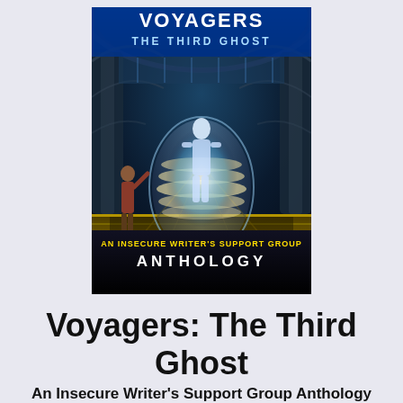[Figure (illustration): Book cover for 'Voyagers: The Third Ghost — An Insecure Writer's Support Group Anthology'. Shows a glowing figure inside a futuristic pod/capsule in an underground tunnel-like setting with arched ceiling. Another figure stands to the left. The title 'VOYAGERS THE THIRD GHOST' appears at the top in white/blue text, and 'AN INSECURE WRITER'S SUPPORT GROUP ANTHOLOGY' appears at the bottom in yellow and white text.]
Voyagers: The Third Ghost
An Insecure Writer's Support Group Anthology